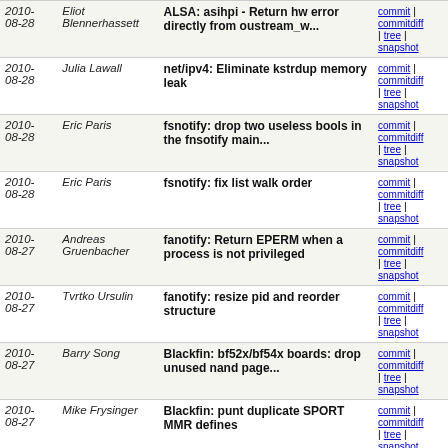| Date | Author | Description | Links |
| --- | --- | --- | --- |
| 2010-08-28 | Eliot Blennerhassett | ALSA: asihpi - Return hw error directly from oustream_w... | commit | commitdiff | tree | snapshot |
| 2010-08-28 | Julia Lawall | net/ipv4: Eliminate kstrdup memory leak | commit | commitdiff | tree | snapshot |
| 2010-08-28 | Eric Paris | fsnotify: drop two useless bools in the fnsotify main... | commit | commitdiff | tree | snapshot |
| 2010-08-28 | Eric Paris | fsnotify: fix list walk order | commit | commitdiff | tree | snapshot |
| 2010-08-27 | Andreas Gruenbacher | fanotify: Return EPERM when a process is not privileged | commit | commitdiff | tree | snapshot |
| 2010-08-27 | Tvrtko Ursulin | fanotify: resize pid and reorder structure | commit | commitdiff | tree | snapshot |
| 2010-08-27 | Barry Song | Blackfin: bf52x/bf54x boards: drop unused nand page... | commit | commitdiff | tree | snapshot |
| 2010-08-27 | Mike Frysinger | Blackfin: punt duplicate SPORT MMR defines | commit | commitdiff | tree | snapshot |
| 2010-08-27 | Axel Lin | ASoC: soc-core: fix debugfs_pop_time file permissions | commit | commitdiff | tree | snapshot |
| 2010-08-27 | Tyler Hicks | eCryptfs: Fix encrypted file name lookup regression | commit | commitdiff | tree | snapshot |